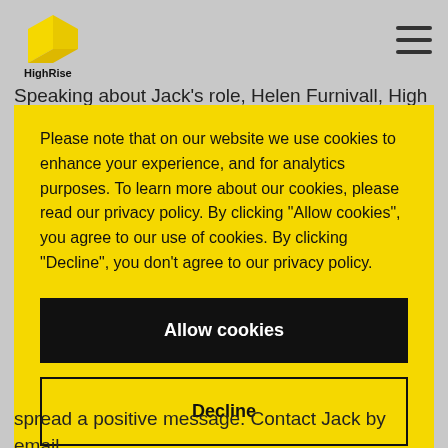[Figure (logo): HighRise logo: yellow geometric stacked shape with 'HighRise' text in black]
Speaking about Jack's role, Helen Furnivall, High
Please note that on our website we use cookies to enhance your experience, and for analytics purposes. To learn more about our cookies, please read our privacy policy. By clicking "Allow cookies", you agree to our use of cookies. By clicking "Decline", you don't agree to our privacy policy.
Allow cookies
Decline
spread a positive message. Contact Jack by email